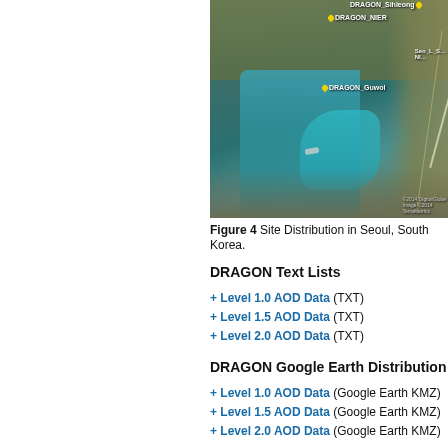[Figure (map): Satellite map showing Site Distribution in Seoul, South Korea with DRAGON monitoring sites marked with yellow pins labeled DRAGON_NIER, DRAGON_Sihleong, DRAGON_Guwol, and others.]
Figure 4 Site Distribution in Seoul, South Korea.
DRAGON Text Lists
+ Level 1.0 AOD Data (TXT)
+ Level 1.5 AOD Data (TXT)
+ Level 2.0 AOD Data (TXT)
DRAGON Google Earth Distribution
+ Level 1.0 AOD Data (Google Earth KMZ)
+ Level 1.5 AOD Data (Google Earth KMZ)
+ Level 2.0 AOD Data (Google Earth KMZ)
Contacts (Top)
| Collaborators | Title/Pr… |
| --- | --- |
| Brent Holben | DRAGON-Asia (A… |
| Jhoon Kim | DRAGON-K… |